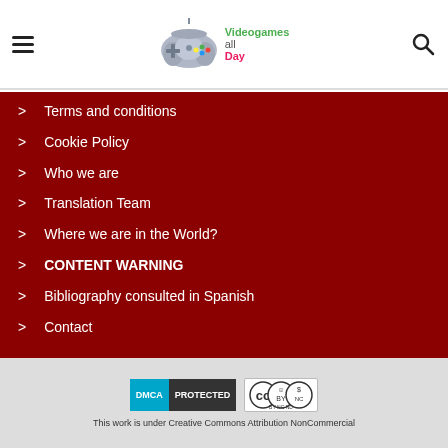Videogames all Day - navigation header with logo and search
Terms and conditions
Cookie Policy
Who we are
Translation Team
Where we are in the World?
CONTENT WARNING
Bibliography consulted in Spanish
Contact
DMCA PROTECTED | CC BY NC ND | This work is under Creative Commons Attribution NonCommercial